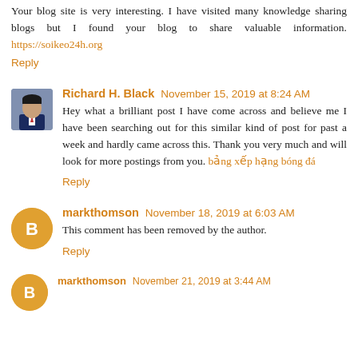Your blog site is very interesting. I have visited many knowledge sharing blogs but I found your blog to share valuable information. https://soikeo24h.org
Reply
Richard H. Black  November 15, 2019 at 8:24 AM
Hey what a brilliant post I have come across and believe me I have been searching out for this similar kind of post for past a week and hardly came across this. Thank you very much and will look for more postings from you. bảng xếp hạng bóng đá
Reply
markthomson  November 18, 2019 at 6:03 AM
This comment has been removed by the author.
Reply
markthomson  November 21, 2019 at 3:44 AM